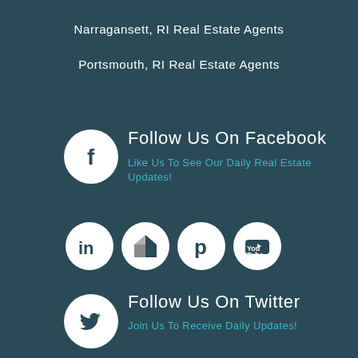Narragansett, RI Real Estate Agents
Portsmouth, RI Real Estate Agents
[Figure (logo): Facebook logo icon - white circle with F]
Follow Us On Facebook
Like Us To See Our Daily Real Estate Updates!
[Figure (logo): Row of social media icons: LinkedIn, Houzz, Pinterest, YouTube]
Follow Us On Twitter
Join Us To Receive Daily Updates!
[Figure (logo): Twitter bird logo icon - white circle with bird]